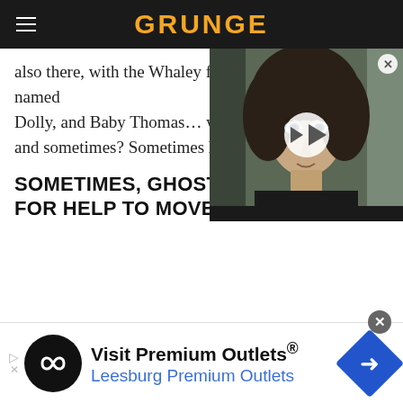GRUNGE
also there, with the Whaley family dog, a terrier named Dolly, and Baby Thomas… who and sometimes? Sometimes h
[Figure (screenshot): Video thumbnail showing a young man with curly brown hair and blue eyes, with a play button overlay]
SOMETIMES, GHOSTS A FOR HELP TO MOVE ON
[Figure (other): Advertisement banner: Visit Premium Outlets® / Leesburg Premium Outlets, with infinity loop logo and navigation arrow icon]